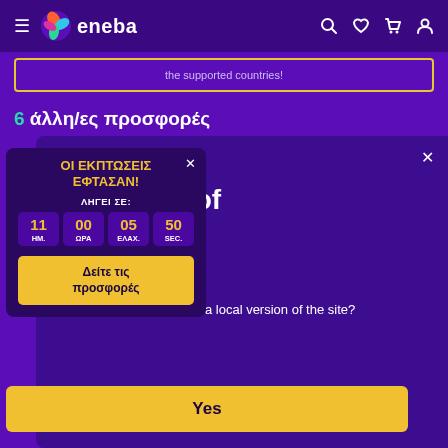eneba — navigation bar with hamburger menu, logo, search, wishlist, cart, account icons
the supported countries!
6 άλλη/ες προσφορές
[Figure (infographic): Countdown popup: ΟΙ ΕΚΠΤΩΣΕΙΣ ΕΦΤΑΣΑΝ! ΛΗΓΕΙ ΣΕ: 11 ΗΜ. 00 ΩΡΑ. 05 ΕΛΑΧ. 50 SEC. Button: Δείτε τις προσφορές]
e in
d States of ica
Language: English US
Currency: US Dollar ($)
Would you like to see a local version of the site?
Yes